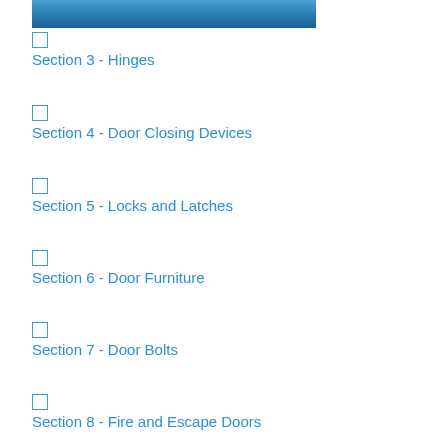[Figure (photo): Partial view of a photo strip at top of page with blue tones]
Section 3 - Hinges
Section 4 - Door Closing Devices
Section 5 - Locks and Latches
Section 6 - Door Furniture
Section 7 - Door Bolts
Section 8 - Fire and Escape Doors
Section 9 - Escape Hardware
Section 10 - Signage
Section 11 - The Basics of Access Control